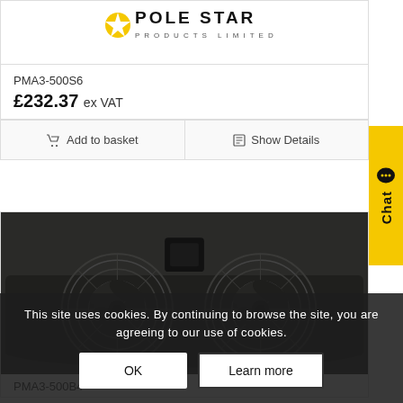[Figure (logo): Pole Star Products Limited logo — stylized text with star and circle graphic]
PMA3-500S6
£232.37 ex VAT
Add to basket
Show Details
[Figure (photo): Black dual-fan radiator/cooling unit mounted on a flat panel, viewed from above at an angle]
PMA3-500B4
This site uses cookies. By continuing to browse the site, you are agreeing to our use of cookies.
OK
Learn more